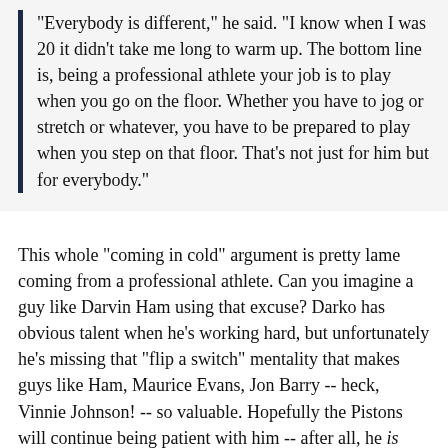"Everybody is different," he said. "I know when I was 20 it didn't take me long to warm up. The bottom line is, being a professional athlete your job is to play when you go on the floor. Whether you have to jog or stretch or whatever, you have to be prepared to play when you step on that floor. That's not just for him but for everybody."
This whole "coming in cold" argument is pretty lame coming from a professional athlete. Can you imagine a guy like Darvin Ham using that excuse? Darko has obvious talent when he's working hard, but unfortunately he's missing that "flip a switch" mentality that makes guys like Ham, Maurice Evans, Jon Barry -- heck, Vinnie Johnson! -- so valuable. Hopefully the Pistons will continue being patient with him -- after all, he is only 20 years old, right?